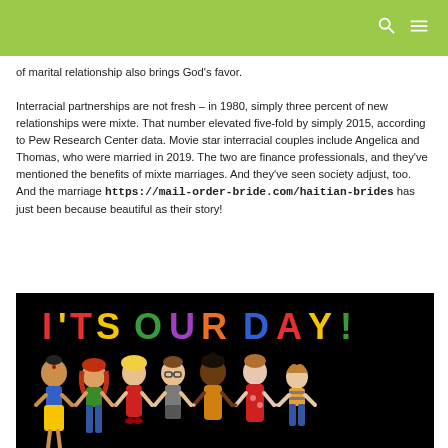of marital relationship also brings God's favor.

Interracial partnerships are not fresh – in 1980, simply three percent of new relationships were mixte. That number elevated five-fold by simply 2015, according to Pew Research Center data. Movie star interracial couples include Angelica and Thomas, who were married in 2019. The two are finance professionals, and they've mentioned the benefits of mixte marriages. And they've seen society adjust, too. And the marriage https://mail-order-bride.com/haitian-brides has just been because beautiful as their story!
[Figure (illustration): Illustration of diverse cartoon characters holding hands with the text 'IT'S OUR DAY!' on a black background]